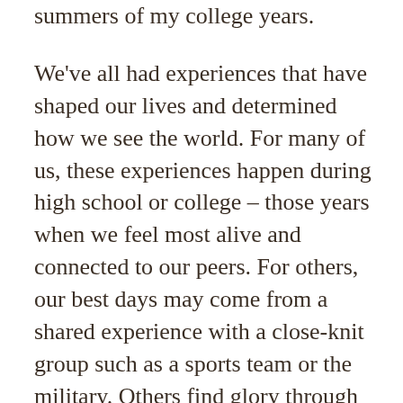summers of my college years.
We've all had experiences that have shaped our lives and determined how we see the world. For many of us, these experiences happen during high school or college – those years when we feel most alive and connected to our peers. For others, our best days may come from a shared experience with a close-knit group such as a sports team or the military. Others find glory through extended travel abroad or at a job they were especially proud of.
I am very proud of the summers during college where I worked as a 'Hotshot' for